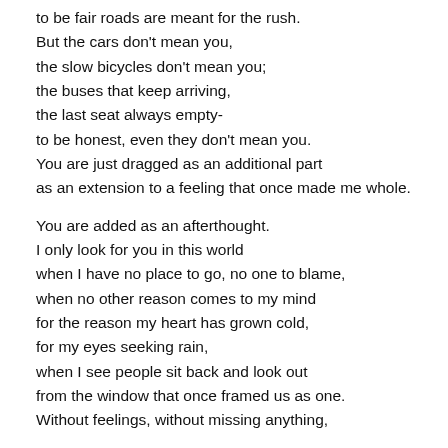to be fair roads are meant for the rush.
But the cars don't mean you,
the slow bicycles don't mean you;
the buses that keep arriving,
the last seat always empty-
to be honest, even they don't mean you.
You are just dragged as an additional part
as an extension to a feeling that once made me whole.

You are added as an afterthought.
I only look for you in this world
when I have no place to go, no one to blame,
when no other reason comes to my mind
for the reason my heart has grown cold,
for my eyes seeking rain,
when I see people sit back and look out
from the window that once framed us as one.
Without feelings, without missing anything,